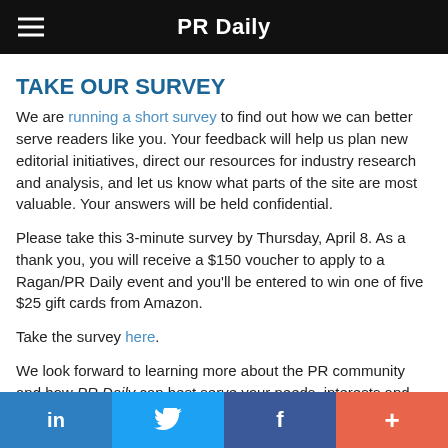PR Daily
TAKE OUR SURVEY
We are running a short survey to find out how we can better serve readers like you. Your feedback will help us plan new editorial initiatives, direct our resources for industry research and analysis, and let us know what parts of the site are most valuable. Your answers will be held confidential.
Please take this 3-minute survey by Thursday, April 8. As a thank you, you will receive a $150 voucher to apply to a Ragan/PR Daily event and you'll be entered to win one of five $25 gift cards from Amazon.
Take the survey here.
We look forward to learning more about the PR community and how PR Daily can best serve your needs, interests and
in  [Twitter]  f  +